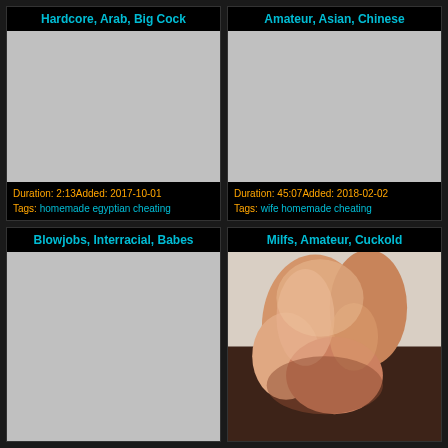Hardcore, Arab, Big Cock
[Figure (photo): Video thumbnail placeholder (grey)]
Duration: 2:13Added: 2017-10-01
Tags: homemade egyptian cheating
Amateur, Asian, Chinese
[Figure (photo): Video thumbnail placeholder (grey)]
Duration: 45:07Added: 2018-02-02
Tags: wife homemade cheating
Blowjobs, Interracial, Babes
[Figure (photo): Video thumbnail placeholder (grey)]
Milfs, Amateur, Cuckold
[Figure (photo): Video thumbnail showing person lying down]